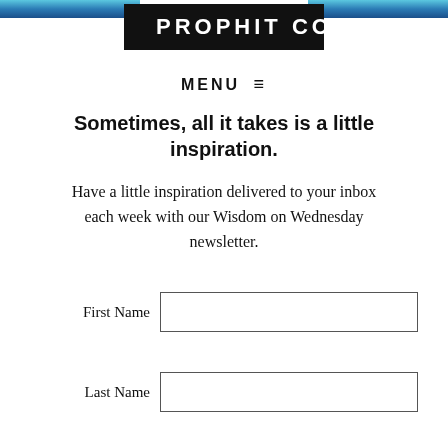PROPHIT CO.
MENU ≡
Sometimes, all it takes is a little inspiration.
Have a little inspiration delivered to your inbox each week with our Wisdom on Wednesday newsletter.